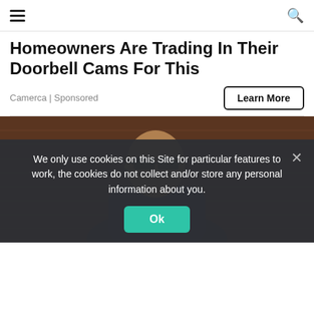≡  🔍
Homeowners Are Trading In Their Doorbell Cams For This
Camerca | Sponsored
Learn More
[Figure (photo): A man wearing large black glasses and a dark patterned shirt, seated in front of a brick wall background.]
We only use cookies on this Site for particular features to work, the cookies do not collect and/or store any personal information about you.
Ok